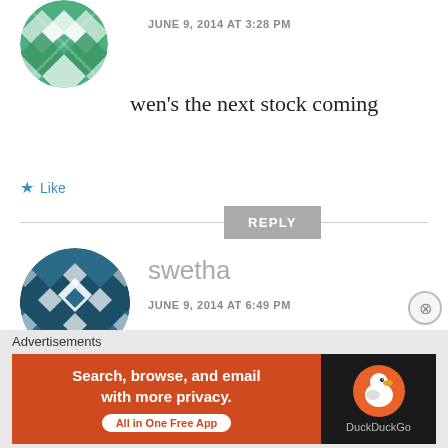JUNE 9, 2014 AT 3:28 PM
wen's the next stock coming
Like
REPLY
[Figure (illustration): Teal geometric patterned circular avatar for user swetha]
swetha
JUNE 9, 2014 AT 6:49 PM
any intimation about the stock??
Advertisements
[Figure (infographic): DuckDuckGo advertisement banner: Search, browse, and email with more privacy. All in One Free App]